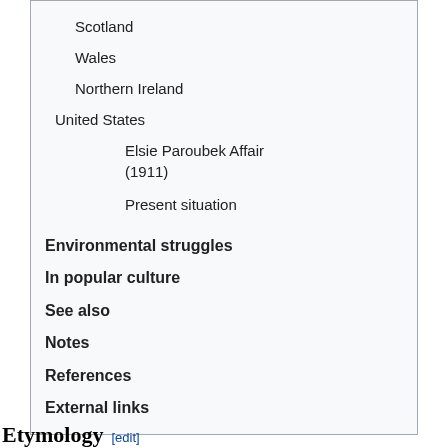Scotland
Wales
Northern Ireland
United States
Elsie Paroubek Affair (1911)
Present situation
Environmental struggles
In popular culture
See also
Notes
References
External links
Etymology [edit]